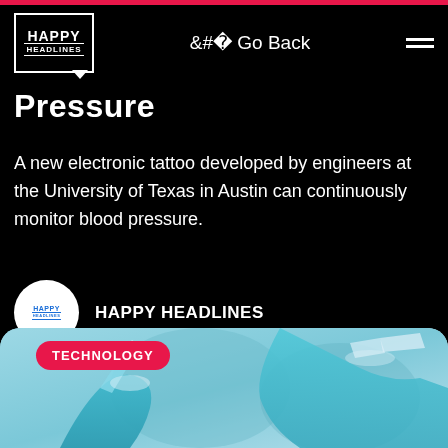Happy Headlines | Go Back
Pressure
A new electronic tattoo developed by engineers at the University of Texas in Austin can continuously monitor blood pressure.
HAPPY HEADLINES
[Figure (photo): Blue-gloved hands handling laboratory equipment, with a TECHNOLOGY badge overlay in pink/red]
TECHNOLOGY